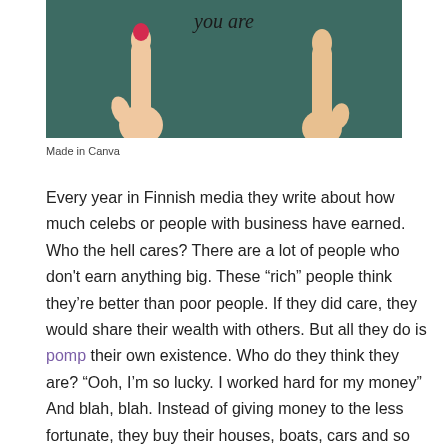[Figure (photo): Two hands pointing index fingers upward against a dark teal/green background, with the text 'you are' visible at the top in italic font. The left hand has red nail polish.]
Made in Canva
Every year in Finnish media they write about how much celebs or people with business have earned. Who the hell cares? There are a lot of people who don't earn anything big. These “rich” people think they’re better than poor people. If they did care, they would share their wealth with others. But all they do is pomp their own existence. Who do they think they are? “Ooh, I’m so lucky. I worked hard for my money” And blah, blah. Instead of giving money to the less fortunate, they buy their houses, boats, cars and so on. They think they